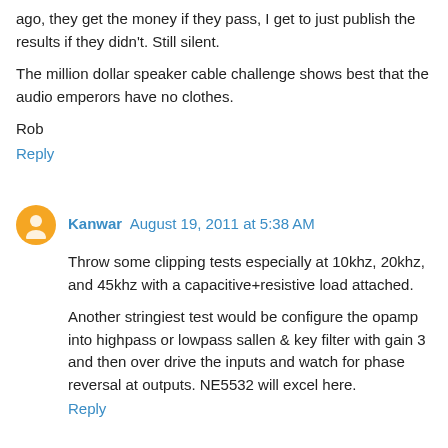ago, they get the money if they pass, I get to just publish the results if they didn't. Still silent.
The million dollar speaker cable challenge shows best that the audio emperors have no clothes.
Rob
Reply
Kanwar  August 19, 2011 at 5:38 AM
Throw some clipping tests especially at 10khz, 20khz, and 45khz with a capacitive+resistive load attached.
Another stringiest test would be configure the opamp into highpass or lowpass sallen & key filter with gain 3 and then over drive the inputs and watch for phase reversal at outputs. NE5532 will excel here.
Reply